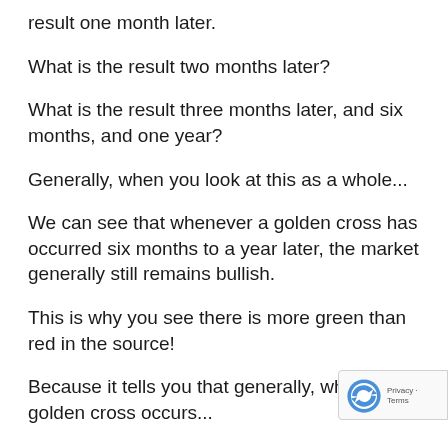result one month later.
What is the result two months later?
What is the result three months later, and six months, and one year?
Generally, when you look at this as a whole...
We can see that whenever a golden cross has occurred six months to a year later, the market generally still remains bullish.
This is why you see there is more green than red in the source!
Because it tells you that generally, whenever a golden cross occurs...
You can expect that six months from now, or t months from now, the market will be higher than